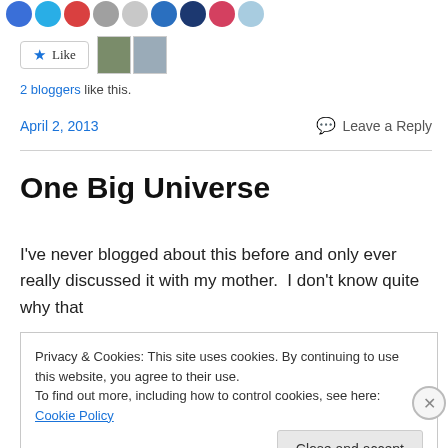[Figure (illustration): Row of circular avatar icons at top of page in various colors (blue, light blue, red, gray, light gray, blue, dark blue, pink/red, light blue)]
[Figure (illustration): Like button with star icon and two blogger avatar thumbnail photos]
2 bloggers like this.
April 2, 2013
Leave a Reply
One Big Universe
I've never blogged about this before and only ever really discussed it with my mother.  I don't know quite why that
Privacy & Cookies: This site uses cookies. By continuing to use this website, you agree to their use.
To find out more, including how to control cookies, see here: Cookie Policy
Close and accept